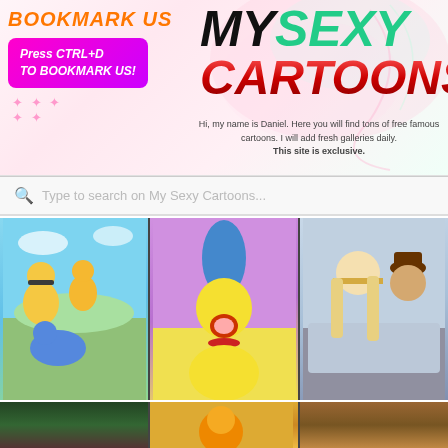MY SEXY CARTOONS
BOOKMARK US
Press CTRL+D TO BOOKMARK US!
Hi, my name is Daniel. Here you will find tons of free famous cartoons. I will add fresh galleries daily. This site is exclusive.
Type to search on My Sexy Cartoons...
[Figure (illustration): Cartoon gallery grid showing animated characters - Flintstones characters, Simpsons Marge character, Pirates of the Caribbean style cartoon characters, and partial bottom row of additional cartoon thumbnails]